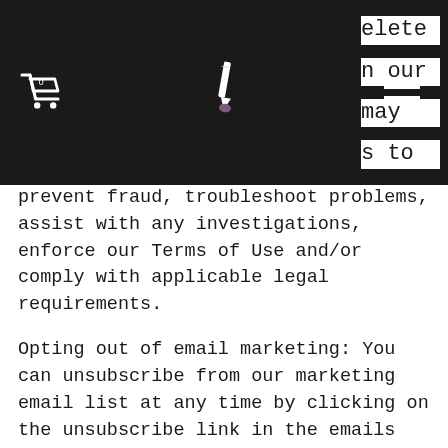[Figure (screenshot): Dark navigation bar with shopping cart icon (showing 0), pencil/calligraphy tool icon, and hamburger menu icon. Partially obscures text on the right side showing fragments: 'elete', 'n our', 'may', 's to']
prevent fraud, troubleshoot problems, assist with any investigations, enforce our Terms of Use and/or comply with applicable legal requirements.
Opting out of email marketing: You can unsubscribe from our marketing email list at any time by clicking on the unsubscribe link in the emails that we send or by contacting us using the details provided below. You will then be removed from the marketing email list — however, we may still communicate with you, for example to send you service-related emails that are necessary for the administration and